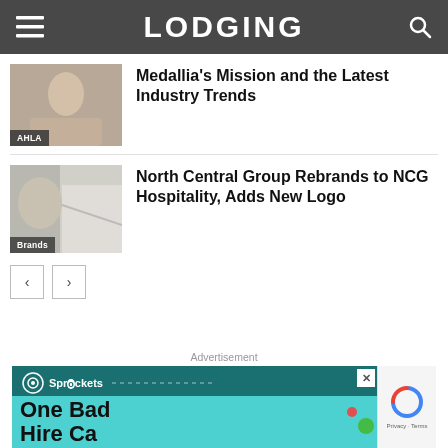LODGING
Medallia's Mission and the Latest Industry Trends
North Central Group Rebrands to NCG Hospitality, Adds New Logo
Advertisement
[Figure (screenshot): Sprockets advertisement with teal background and bold text reading 'One Bad Hire Ca...']